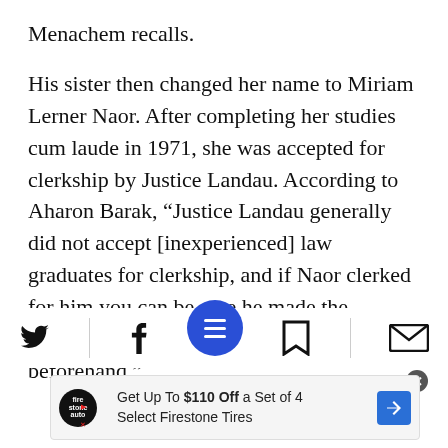Menachem recalls.
His sister then changed her name to Miriam Lerner Naor. After completing her studies cum laude in 1971, she was accepted for clerkship by Justice Landau. According to Aharon Barak, “Justice Landau generally did not accept [inexperienced] law graduates for clerkship, and if Naor clerked for him you can be sure he made the necessary inquiries about her abilities beforehand.”
[Figure (other): Social sharing and navigation toolbar with Twitter, Facebook, menu (blue circle with three horizontal lines), bookmark, and email icons. Below is an advertisement: 'Get Up To $110 Off a Set of 4 Select Firestone Tires' with a Firestone logo and a blue arrow icon.]